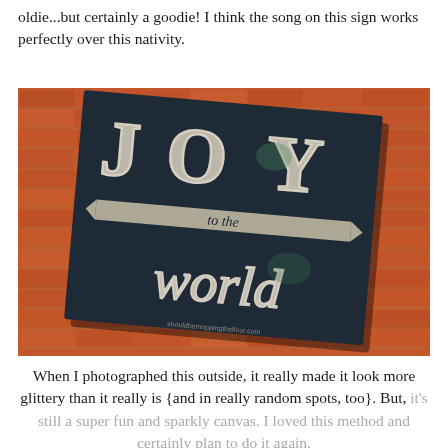oldie...but certainly a goodie! I think the song on this sign works perfectly over this nativity.
[Figure (photo): A chalkboard-style sign leaning against a brick wall, with hand-lettered text reading 'JOY to the world' in white chalk lettering on a dark background. The sign appears to have glittery accents.]
When I photographed this outside, it really made it look more glittery than it really is {and in really random spots, too}. But, it's still a super fun and sparkly canvas. I loved this method and certainly plan to do it again.